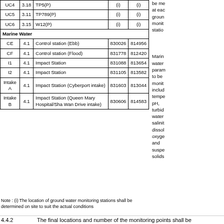| Station | Section | Description | Easting | Northing |
| --- | --- | --- | --- | --- |
| UC4 | 3.18 | TP5(P) | (i) | (i) |
| UC5 | 3.11 | TP789(P) | (i) | (i) |
| UC6 | 3.15 | W12(P) | (i) | (i) |
| Marine Water |  |  |  |  |
| CE | 4.1 | Control station (Ebb) | 830026 | 814956 |
| CF | 4.1 | Control station (Flood) | 831778 | 812420 |
| I1 | 4.1 | Impact Station | 831088 | 813654 |
| I2 | 4.1 | Impact Station | 831105 | 813582 |
| Intake A | 4.1 | Impact Station (Cyberport intake) | 831603 | 813044 |
| Intake B | 4.1 | Impact Station (Queen Mary Hospital/Sha Wan Drive intake) | 830606 | 814583 |
Note : (i) The location of ground water monitoring stations shall be determined on site to suit the actual conditions
be me at eac groun monit statio
Marine water param to be monit includ tempe pH, turbid water salinit dissol oxyge and suspe solids
4.4.2    The final locations and number of the monitoring points shall be